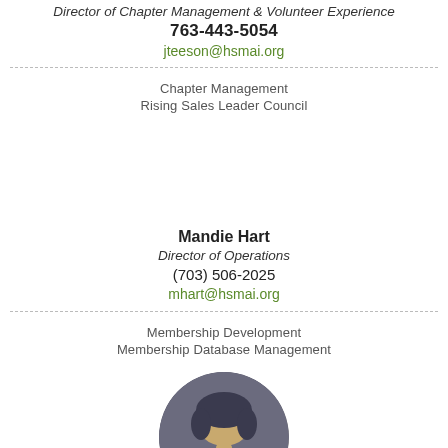Director of Chapter Management & Volunteer Experience
763-443-5054
jteeson@hsmai.org
Chapter Management
Rising Sales Leader Council
Mandie Hart
Director of Operations
(703) 506-2025
mhart@hsmai.org
Membership Development
Membership Database Management
[Figure (photo): Circular headshot photo of a person with light hair, dark background, partially visible at bottom of page]